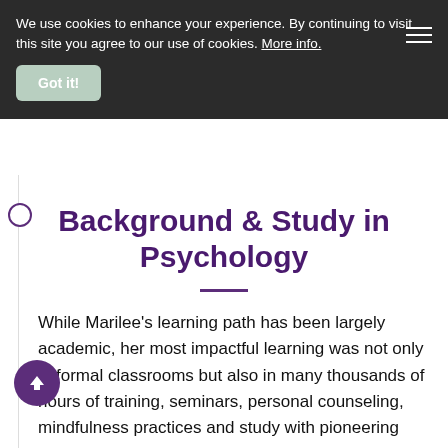We use cookies to enhance your experience. By continuing to visit this site you agree to our use of cookies. More info.
Got it!
Background & Study in Psychology
While Marilee’s learning path has been largely academic, her most impactful learning was not only in formal classrooms but also in many thousands of hours of training, seminars, personal counseling, mindfulness practices and study with pioneering masters of change